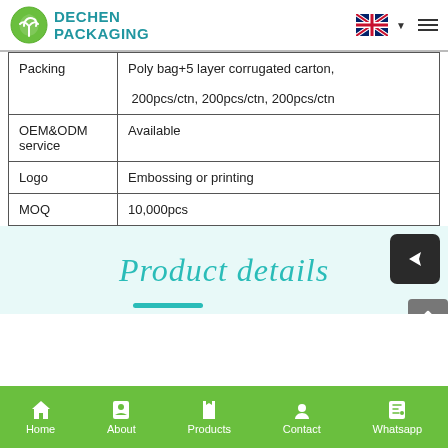DECHEN PACKAGING
|  |  |
| --- | --- |
| Packing | Poly bag+5 layer corrugated carton,

200pcs/ctn, 200pcs/ctn, 200pcs/ctn |
| OEM&ODM service | Available |
| Logo | Embossing or printing |
| MOQ | 10,000pcs |
[Figure (other): Product details section with teal cursive text on light teal background]
Home  About  Products  Contact  Whatsapp